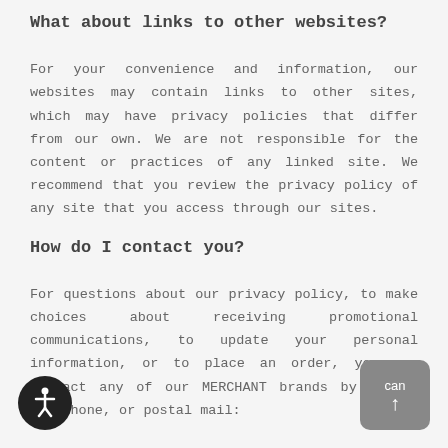What about links to other websites?
For your convenience and information, our websites may contain links to other sites, which may have privacy policies that differ from our own. We are not responsible for the content or practices of any linked site. We recommend that you review the privacy policy of any site that you access through our sites.
How do I contact you?
For questions about our privacy policy, to make choices about receiving promotional communications, to update your personal information, or to place an order, you can contact any of our MERCHANT brands by email, telephone, or postal mail: